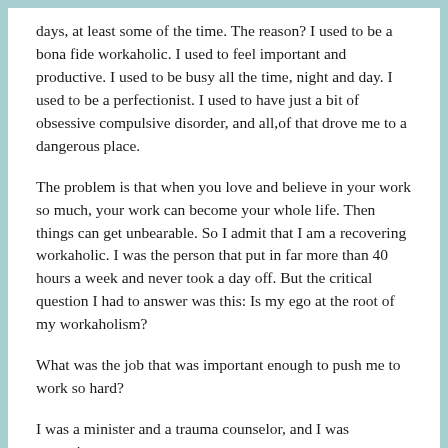days, at least some of the time. The reason? I used to be a bona fide workaholic. I used to feel important and productive. I used to be busy all the time, night and day. I used to be a perfectionist. I used to have just a bit of obsessive compulsive disorder, and all,of that drove me to a dangerous place.
The problem is that when you love and believe in your work so much, your work can become your whole life. Then things can get unbearable. So I admit that I am a recovering workaholic. I was the person that put in far more than 40 hours a week and never took a day off. But the critical question I had to answer was this: Is my ego at the root of my workaholism?
What was the job that was important enough to push me to work so hard?
I was a minister and a trauma counselor, and I was executive